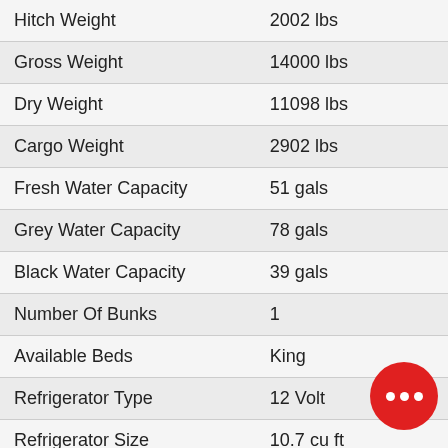| Specification | Value |
| --- | --- |
| Hitch Weight | 2002 lbs |
| Gross Weight | 14000 lbs |
| Dry Weight | 11098 lbs |
| Cargo Weight | 2902 lbs |
| Fresh Water Capacity | 51 gals |
| Grey Water Capacity | 78 gals |
| Black Water Capacity | 39 gals |
| Number Of Bunks | 1 |
| Available Beds | King |
| Refrigerator Type | 12 Volt |
| Refrigerator Size | 10.7 cu ft |
| Cooktop Burners | 3 |
| Number of Awnings | 1 |
| LP Tank Capacity | 60 lbs |
| Water Heater Capacity | 6 gal |